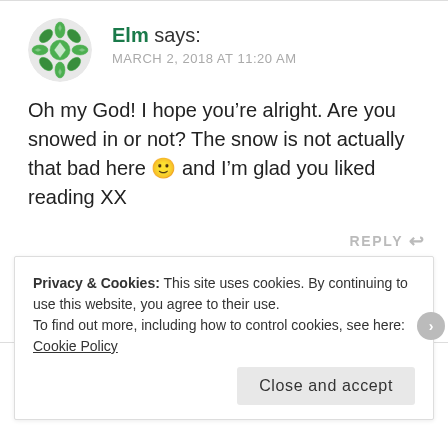[Figure (illustration): Green decorative avatar icon with flower/snowflake pattern for user Elm]
Elm says:
MARCH 2, 2018 AT 11:20 AM
Oh my God! I hope you’re alright. Are you snowed in or not? The snow is not actually that bad here 🙂 and I’m glad you liked reading XX
REPLY
Privacy & Cookies: This site uses cookies. By continuing to use this website, you agree to their use.
To find out more, including how to control cookies, see here: Cookie Policy
Close and accept